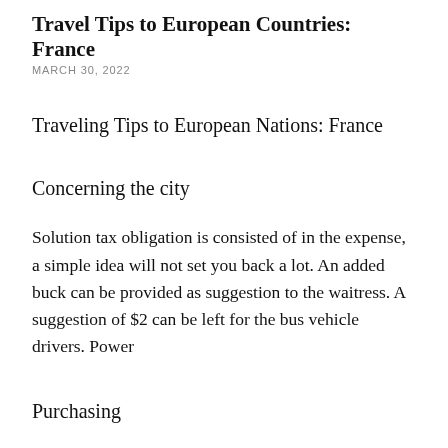Travel Tips to European Countries: France
MARCH 30, 2022
Traveling Tips to European Nations: France
Concerning the city
Solution tax obligation is consisted of in the expense, a simple idea will not set you back a lot. An added buck can be provided as suggestion to the waitress. A suggestion of $2 can be left for the bus vehicle drivers. Power
Purchasing
France is a nation which attracts extra travelers than any type of various other nation. It is simple to see why this is the situation provided France’s terrific online reputation for great red wines, great food, high style and also unwinded way of living. While France is